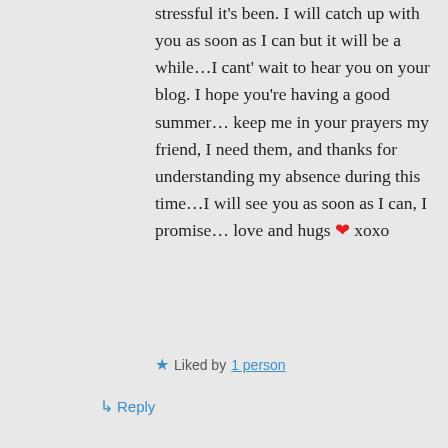stressful it's been. I will catch up with you as soon as I can but it will be a while…I cant' wait to hear you on your blog. I hope you're having a good summer… keep me in your prayers my friend, I need them, and thanks for understanding my absence during this time…I will see you as soon as I can, I promise… love and hugs ❤ xoxo
★ Liked by 1 person
↳ Reply